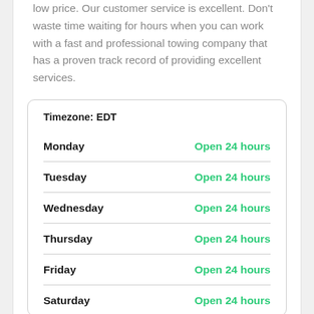low price. Our customer service is excellent. Don't waste time waiting for hours when you can work with a fast and professional towing company that has a proven track record of providing excellent services.
| Day | Hours |
| --- | --- |
| Monday | Open 24 hours |
| Tuesday | Open 24 hours |
| Wednesday | Open 24 hours |
| Thursday | Open 24 hours |
| Friday | Open 24 hours |
| Saturday | Open 24 hours |